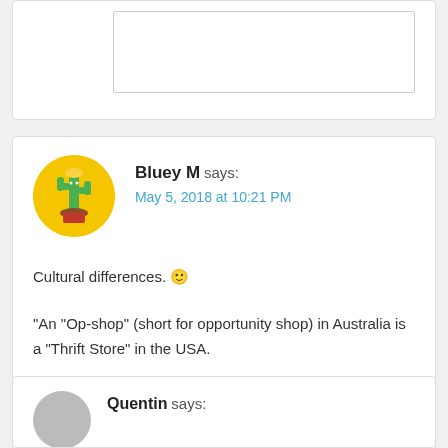[Figure (other): Partial top comment box with white background and a partial image visible]
Bluey M says:
May 5, 2018 at 10:21 PM
Cultural differences. 🙂
“An “Op-shop” (short for opportunity shop) in Australia is a “Thrift Store” in the USA.
Quentin says: